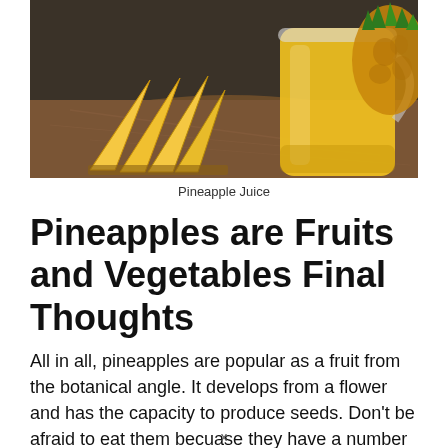[Figure (photo): Photo of pineapple slices on a wooden cutting board next to a glass mason jar of pineapple juice, with a whole pineapple visible in the background on a dark surface.]
Pineapple Juice
Pineapples are Fruits and Vegetables Final Thoughts
All in all, pineapples are popular as a fruit from the botanical angle. It develops from a flower and has the capacity to produce seeds. Don’t be afraid to eat them becuase they have a number of healt…